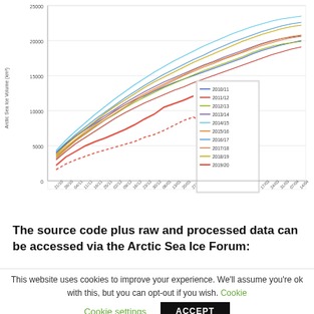[Figure (line-chart): Multi-year line chart of Arctic Sea Ice Volume from October to April, showing years 2010/11 through 2019/20. 2019/20 (red solid) is the lowest series. Values range from approximately 5000 to 22000 km³.]
The source code plus raw and processed data can be accessed via the Arctic Sea Ice Forum:
This website uses cookies to improve your experience. We'll assume you're ok with this, but you can opt-out if you wish. Cookie settings ACCEPT